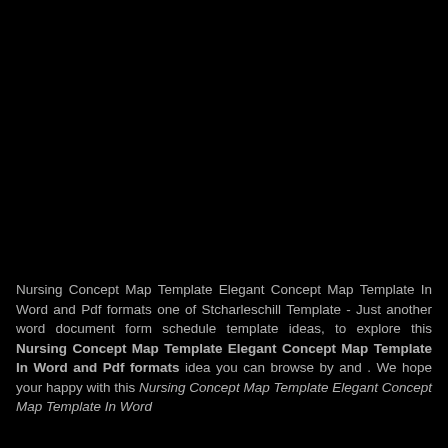[Figure (photo): Large black image area occupying the top portion of the page, likely a dark/black concept map or template illustration.]
Nursing Concept Map Template Elegant Concept Map Template In Word and Pdf formats one of Stcharleschill Template - Just another word document form schedule template ideas, to explore this Nursing Concept Map Template Elegant Concept Map Template In Word and Pdf formats idea you can browse by and . We hope your happy with this Nursing Concept Map Template Elegant Concept Map Template In Word